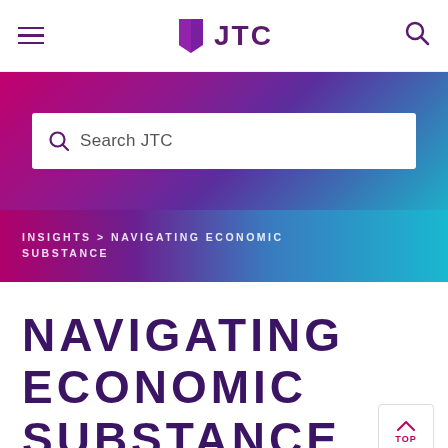JTC
[Figure (screenshot): JTC website screenshot showing navigation bar with hamburger menu, JTC logo with shield icon, and search icon]
Search JTC
INSIGHTS > NAVIGATING ECONOMIC SUBSTANCE
NAVIGATING ECONOMIC SUBSTANCE